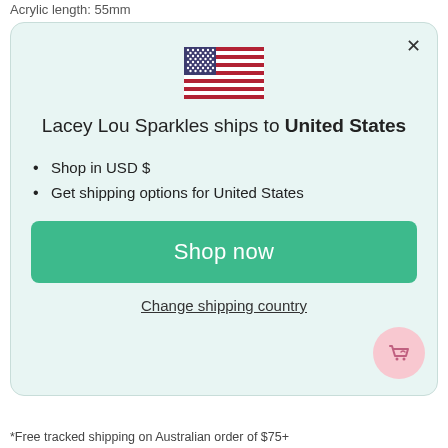Acrylic length: 55mm
[Figure (illustration): US flag emoji in center of modal]
Lacey Lou Sparkles ships to United States
Shop in USD $
Get shipping options for United States
Shop now
Change shipping country
*Free tracked shipping on Australian order of $75+